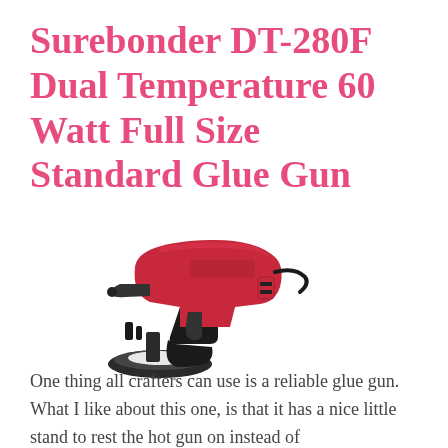Surebonder DT-280F Dual Temperature 60 Watt Full Size Standard Glue Gun
[Figure (photo): A red and black Surebonder DT-280F dual temperature glue gun resting on a round black circular stand with a white tray, photographed at an angle on a white background.]
One thing all crafters can use is a reliable glue gun. What I like about this one, is that it has a nice little stand to rest the hot gun on instead of